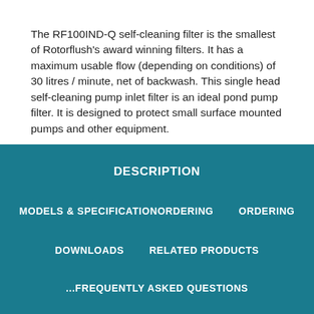The RF100IND-Q self-cleaning filter is the smallest of Rotorflush's award winning filters. It has a maximum usable flow (depending on conditions) of 30 litres / minute, net of backwash. This single head self-cleaning pump inlet filter is an ideal pond pump filter. It is designed to protect small surface mounted pumps and other equipment.
Ideal for:
DESCRIPTION
MODELS & SPECIFICATIONORDERING
ORDERING
DOWNLOADS
RELATED PRODUCTS
...FREQUENTLY ASKED QUESTIONS